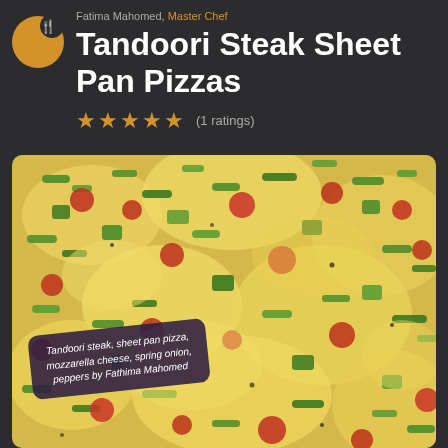Fatima Mahomed, Master Chef
Tandoori Steak Sheet Pan Pizzas
★★★★★ (1 ratings)
[Figure (photo): Close-up photo of a sheet pan pizza topped with melted mozzarella cheese, green bell peppers, spring onions, and red tomato pieces. A dark purple label overlay reads: Tandoori steak, sheet pan pizza, mozzarella cheese, spring onion, peppers by Fathima Mahomed]
Tandoori steak, sheet pan pizza, mozzarella cheese, spring onion, peppers by Fathima Mahomed